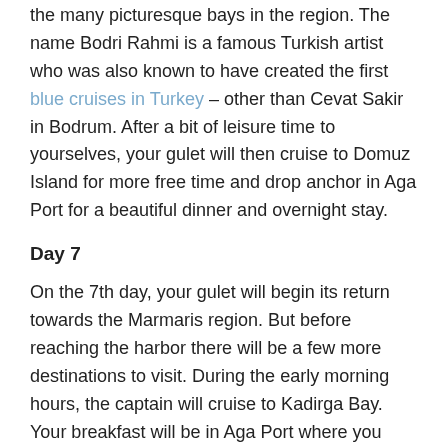the many picturesque bays in the region. The name Bodri Rahmi is a famous Turkish artist who was also known to have created the first blue cruises in Turkey – other than Cevat Sakir in Bodrum. After a bit of leisure time to yourselves, your gulet will then cruise to Domuz Island for more free time and drop anchor in Aga Port for a beautiful dinner and overnight stay.
Day 7
On the 7th day, your gulet will begin its return towards the Marmaris region. But before reaching the harbor there will be a few more destinations to visit. During the early morning hours, the captain will cruise to Kadirga Bay. Your breakfast will be in Aga Port where you stayed the day before, and your lunch will be served in Kadirga Bay. It is a peaceful bay even though it draws a lot of daily boat tour traffic from Marmaris. There are water sports available that you can hire; such as jet skiis, ringos, banana boats and the like, offered by privately operated